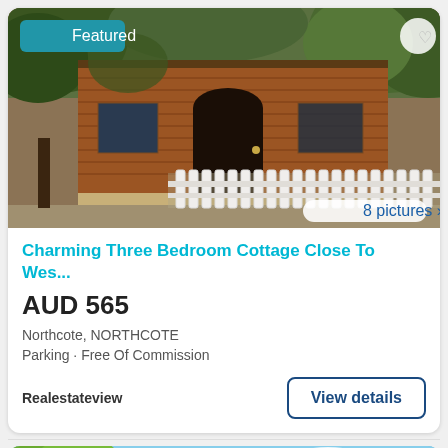[Figure (photo): Exterior photo of a charming three bedroom brick cottage with green foliage, dark wooden front door, white picket fence in the foreground. Featured badge in top-left, heart icon top-right, '8 pictures >' badge bottom-right.]
Charming Three Bedroom Cottage Close To Wes...
AUD 565
Northcote, NORTHCOTE
Parking · Free Of Commission
Realestateview
View details
[Figure (photo): Partial exterior photo of another property showing green foliage and a blue roof/awning structure against a partly cloudy sky. Heart icon in top-right corner.]